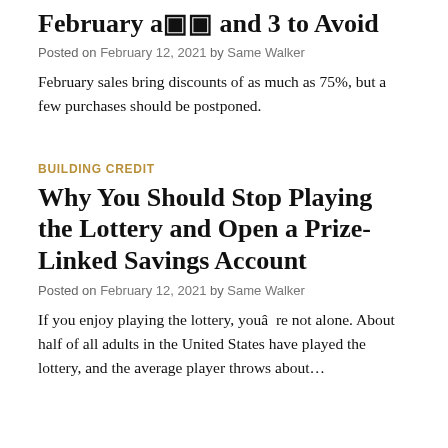February a�� and 3 to Avoid
Posted on February 12, 2021 by Same Walker
February sales bring discounts of as much as 75%, but a few purchases should be postponed.
BUILDING CREDIT
Why You Should Stop Playing the Lottery and Open a Prize-Linked Savings Account
Posted on February 12, 2021 by Same Walker
If you enjoy playing the lottery, youâ  re not alone. About half of all adults in the United States have played the lottery, and the average player throws about…